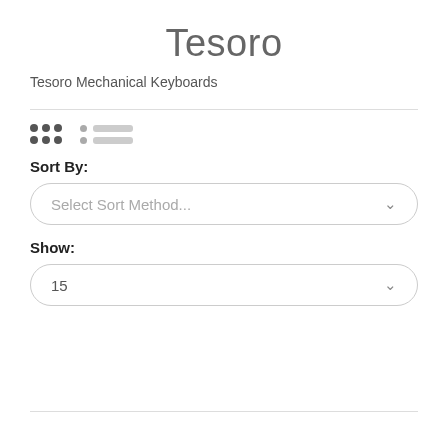Tesoro
Tesoro Mechanical Keyboards
Sort By: Select Sort Method...
Show: 15